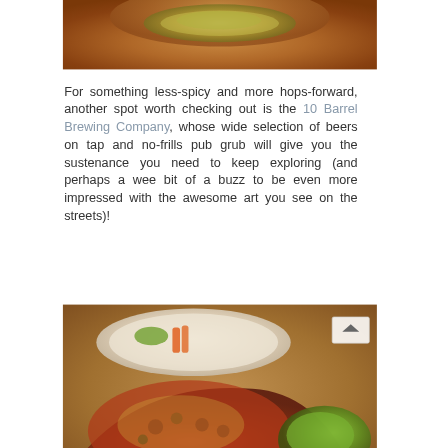[Figure (photo): Close-up photo of food in a copper/bronze bowl, showing a dish with a green topping against a warm brown background]
For something less-spicy and more hops-forward, another spot worth checking out is the 10 Barrel Brewing Company, whose wide selection of beers on tap and no-frills pub grub will give you the sustenance you need to keep exploring (and perhaps a wee bit of a buzz to be even more impressed with the awesome art you see on the streets)!
[Figure (photo): Photo of pub food including a pizza and a plate with vegetables/salad on a wooden table, with a white plate visible in the background]